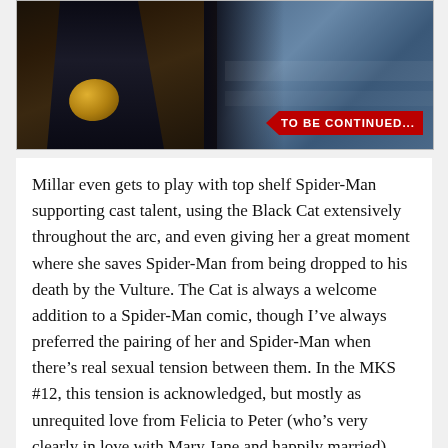[Figure (illustration): Comic book panel showing dark-colored figure with gold/yellow element on left, blue-toned background on right, with a red 'TO BE CONTINUED...' banner in the bottom right corner]
Millar even gets to play with top shelf Spider-Man supporting cast talent, using the Black Cat extensively throughout the arc, and even giving her a great moment where she saves Spider-Man from being dropped to his death by the Vulture. The Cat is always a welcome addition to a Spider-Man comic, though I've always preferred the pairing of her and Spider-Man when there's real sexual tension between them. In the MKS #12, this tension is acknowledged, but mostly as unrequited love from Felicia to Peter (who's very clearly in love with Mary Jane and happily married), and not until the very end of the storyline.
[Figure (illustration): Comic book panel showing a figure with white/silver hair, blue background, with a speech bubble reading: 'I hung around for an hour and a half, trying to cheer her up with my repertoire of bad jokes, but the grateful look in her eyes as she laughed and giggled just']